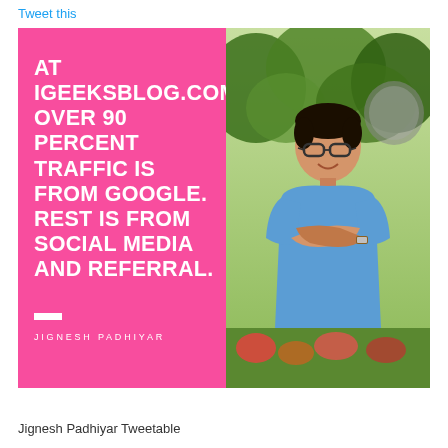Tweet this
[Figure (infographic): Quote card with pink left panel containing bold white uppercase text reading 'AT IGEEKSBLOG.COM OVER 90 PERCENT TRAFFIC IS FROM GOOGLE. REST IS FROM SOCIAL MEDIA AND REFERRAL.' with author name JIGNESH PADHIYAR, and right panel showing a photo of a young man in a blue t-shirt with arms crossed, outdoors.]
Jignesh Padhiyar Tweetable